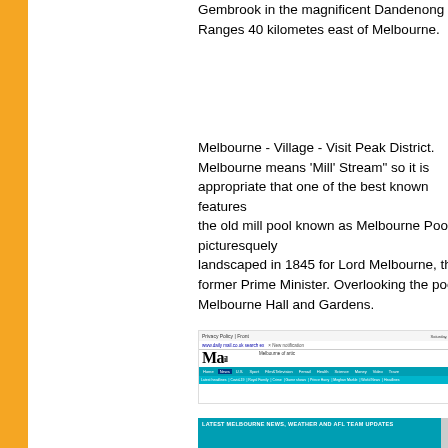Gembrook in the magnificent Dandenong Ranges 40 kilometres east of Melbourne.
Melbourne - Village - Visit Peak District.
Melbourne means 'Mill' Stream" so it is appropriate that one of the best known features the old mill pool known as Melbourne Pool, picturesquely landscaped in 1845 for Lord Melbourne, the former Prime Minister. Overlooking the pool Melbourne Hall and Gardens.
[Figure (screenshot): Screenshot of Daily Mail website showing Melbourne-related news article with navigation bar and masthead]
[Figure (screenshot): Bottom portion of Daily Mail website showing latest Melbourne news, weather and AFL team updates banner]